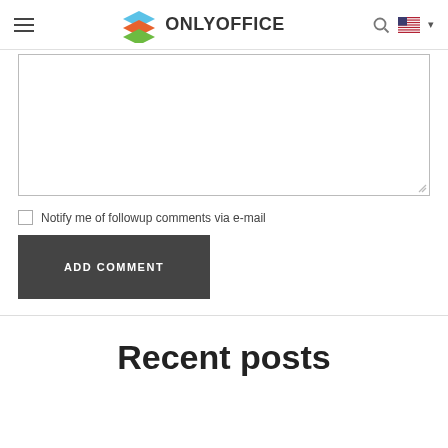ONLYOFFICE
[Figure (screenshot): Empty text area input box with resize handle at bottom right]
Notify me of followup comments via e-mail
ADD COMMENT
Recent posts